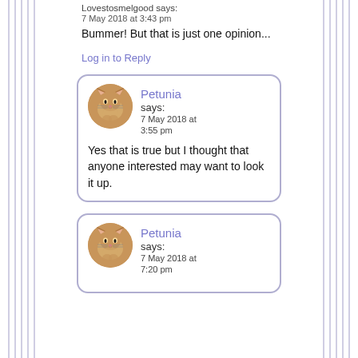Lovestosmelgood says:
7 May 2018 at 3:43 pm
Bummer! But that is just one opinion...
Log in to Reply
Petunia says:
7 May 2018 at 3:55 pm
Yes that is true but I thought that anyone interested may want to look it up.
Petunia says:
7 May 2018 at 7:20 pm